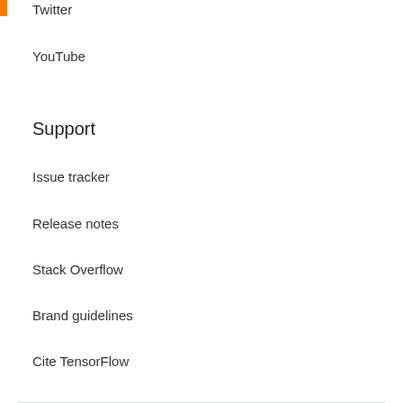Twitter
YouTube
Support
Issue tracker
Release notes
Stack Overflow
Brand guidelines
Cite TensorFlow
Terms  |  Privacy
Sign up for the TensorFlow newsletter
Language